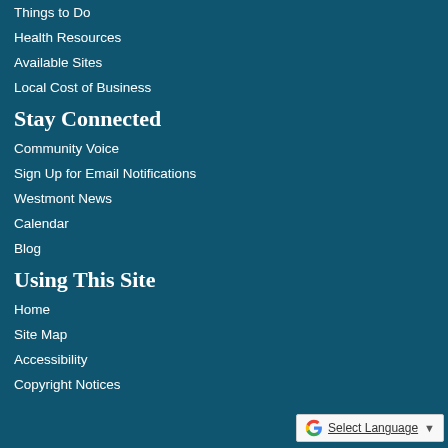Things to Do
Health Resources
Available Sites
Local Cost of Business
Stay Connected
Community Voice
Sign Up for Email Notifications
Westmont News
Calendar
Blog
Using This Site
Home
Site Map
Accessibility
Copyright Notices
[Figure (logo): Google Translate widget with G logo, 'Select Language' text underlined, and dropdown arrow]